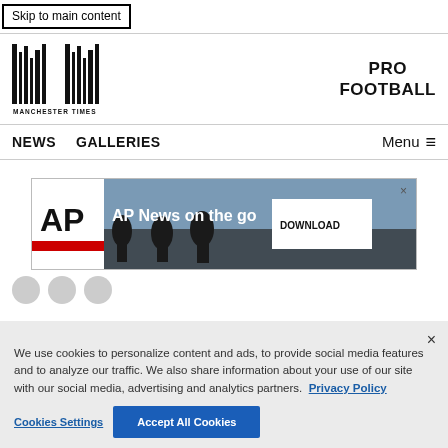Skip to main content
[Figure (logo): Manchester Times newspaper logo - stylized vertical bar chart / text logo]
PRO FOOTBALL
NEWS   GALLERIES   Menu ≡
[Figure (screenshot): AP News advertisement banner: AP logo, text 'AP News on the go', DOWNLOAD button, X close button, silhouettes of journalists/cameras in background]
We use cookies to personalize content and ads, to provide social media features and to analyze our traffic. We also share information about your use of our site with our social media, advertising and analytics partners. Privacy Policy
Cookies Settings   Accept All Cookies